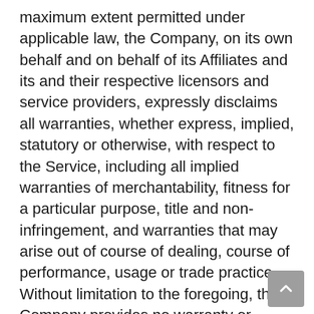maximum extent permitted under applicable law, the Company, on its own behalf and on behalf of its Affiliates and its and their respective licensors and service providers, expressly disclaims all warranties, whether express, implied, statutory or otherwise, with respect to the Service, including all implied warranties of merchantability, fitness for a particular purpose, title and non-infringement, and warranties that may arise out of course of dealing, course of performance, usage or trade practice. Without limitation to the foregoing, the Company provides no warranty or undertaking, and makes no representation of any kind that the Service will meet Your requirements, achieve any intended results, be compatible or work with any other